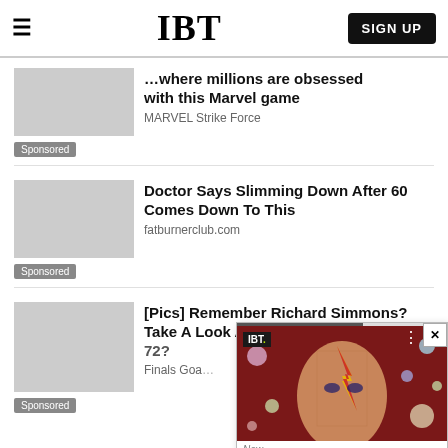IBT | SIGN UP
with this Marvel game
MARVEL Strike Force
Sponsored
Doctor Says Slimming Down After 60 Comes Down To This
fatburnerclub.com
Sponsored
[Pics] Remember Richard Simmons? Take A Look At What He Looks Like At 72?
Finals Goa…
Sponsored
[Figure (screenshot): IBT video popup overlay showing a face artwork with planets, IBT logo badge, three-dot menu, close button, Now label, and SpiderGenus,Severa... title bar]
Advertisement
Comments